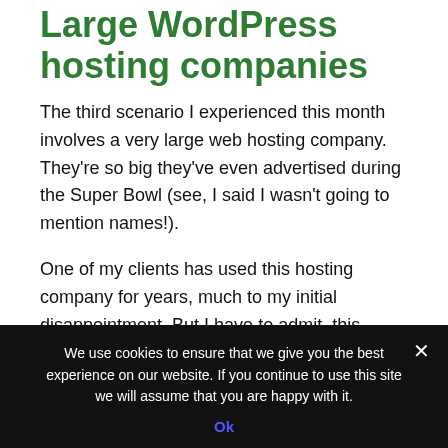Large WordPress hosting companies
The third scenario I experienced this month involves a very large web hosting company. They're so big they've even advertised during the Super Bowl (see, I said I wasn't going to mention names!).
One of my clients has used this hosting company for years, much to my initial disappointment. But I have to admit, this hosting company has dramatically improved
We use cookies to ensure that we give you the best experience on our website. If you continue to use this site we will assume that you are happy with it.
Ok